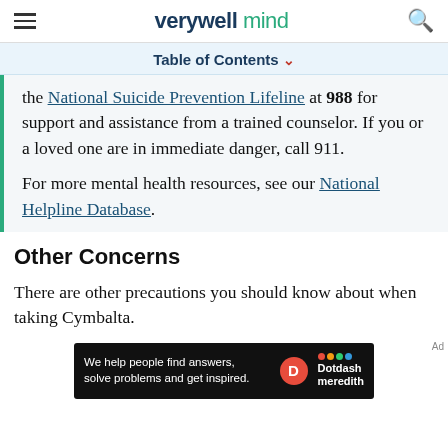verywell mind
Table of Contents
the National Suicide Prevention Lifeline at 988 for support and assistance from a trained counselor. If you or a loved one are in immediate danger, call 911.

For more mental health resources, see our National Helpline Database.
Other Concerns
There are other precautions you should know about when taking Cymbalta.
[Figure (other): Dotdash Meredith advertisement banner with text: We help people find answers, solve problems and get inspired.]